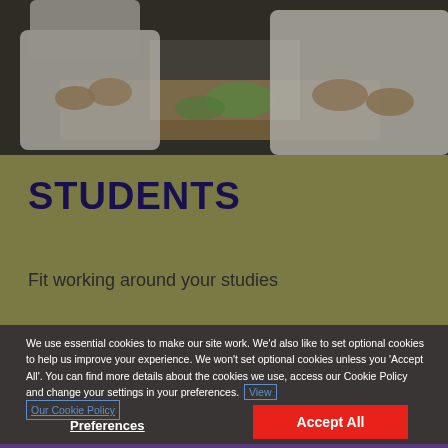[Figure (photo): Two people in white chef coats working at a cutting board, chopping green vegetables in a kitchen setting]
STUDENTS
Fit working around your studies
We use essential cookies to make our site work. We'd also like to set optional cookies to help us improve your experience. We won't set optional cookies unless you 'Accept All'. You can find more details about the cookies we use, access our Cookie Policy and change your settings in your preferences. View Our Cookie Policy
Preferences
Accept All